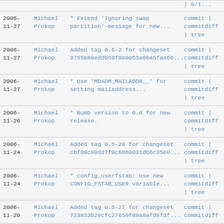| Date | Author | Message | Links |
| --- | --- | --- | --- |
| 2006-
11-27 | Michael
Prokop | * Extend 'Ignoring swap
partition'-message for new... | commit |
commitdiff
| tree |
| 2006-
11-27 | Michael
Prokop | Added tag 0.6-2 for changeset
9755880eddb59f980053a66a5faa66... | commit |
commitdiff
| tree |
| 2006-
11-27 | Michael
Prokop | * Use 'MDADM_MAILADDR__' for
setting mailaddress... | commit |
commitdiff
| tree |
| 2006-
11-26 | Michael
Prokop | * Bumb version to 0.6 for new
release. | commit |
commitdiff
| tree |
| 2006-
11-24 | Michael
Prokop | Added tag 0.5-28 for changeset
cbf09c00dd7f9c6060031db6c35e0... | commit |
commitdiff
| tree |
| 2006-
11-24 | Michael
Prokop | * config_userfstab: use new
CONFIG_FSTAB_USER variable... | commit |
commitdiff
| tree |
| 2006-
11-20 | Michael
Prokop | Added tag 0.5-27 for changeset
723833b2ecfc27650f89a8afd8f3f... | commit |
commitdiff |